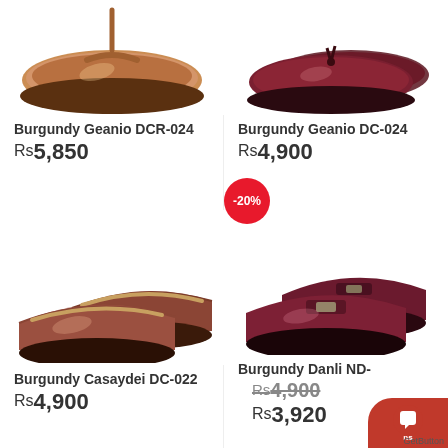[Figure (photo): Brown leather flip-flop/sandal shoe - top left, partially cropped]
[Figure (photo): Dark burgundy loafer with tassel - top right, partially cropped]
Burgundy Geanio DCR-024
Rs 5,850
Burgundy Geanio DC-024
Rs 4,900
[Figure (photo): Brown slip-on loafer shoe - bottom left]
[Figure (photo): Dark burgundy penny loafer - bottom right with -20% discount badge]
Burgundy Casaydei DC-022
Rs 4,900
Burgundy Danli ND-
Rs 4,900
Rs 3,920